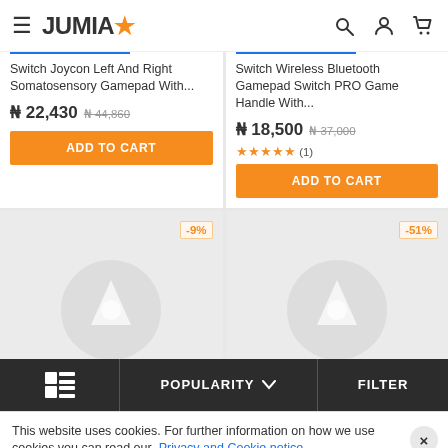JUMIA
Switch Joycon Left And Right Somatosensory Gamepad With... ₦ 22,430 ₦ 44,860
Switch Wireless Bluetooth Gamepad Switch PRO Game Handle With... ₦ 18,500 ₦ 37,000 ★★★★★ (1)
-9%
-51%
POPULARITY  FILTER
This website uses cookies. For further information on how we use cookies you can read our Privacy and Cookie notice